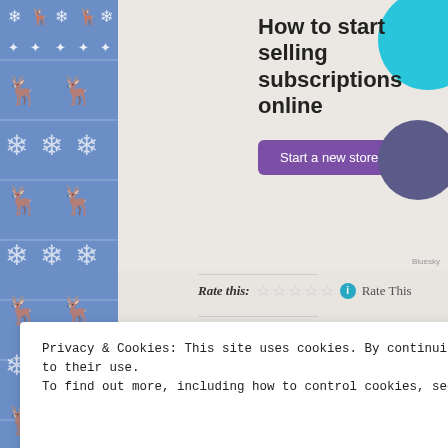[Figure (illustration): Blue decorative border with repeating reindeer and snowflake Nordic pattern on left side of page]
[Figure (screenshot): Advertisement banner: 'How to start selling subscriptions online' with purple 'Start a new store' button and teal/blue decorative circles]
Rate this:
Rate This
Share this:
[Figure (infographic): Social sharing icons: email, print, Twitter, Facebook, Pinterest (with badge 1), Reddit, Tumblr, LinkedIn]
Like
[Figure (infographic): Row of blogger avatar thumbnails]
11 bloggers like this.
Privacy & Cookies: This site uses cookies. By continuing to use this website, you agree to their use.
To find out more, including how to control cookies, see here: Cookie Policy
Close and accept